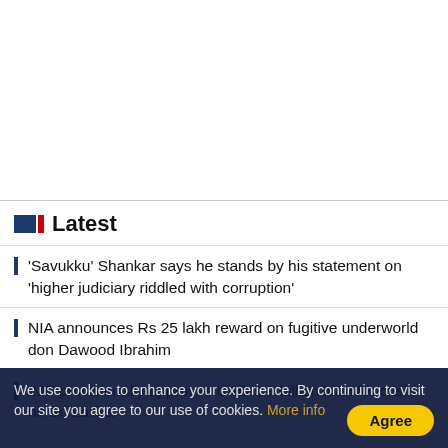[Figure (other): White empty area at top of page, above a horizontal divider line]
Latest
'Savukku' Shankar says he stands by his statement on 'higher judiciary riddled with corruption'
NIA announces Rs 25 lakh reward on fugitive underworld don Dawood Ibrahim
IMF provisionally approves USD 2.9 billion loan for crisis-hit Sri Lanka
We use cookies to enhance your experience. By continuing to visit our site you agree to our use of cookies. More info